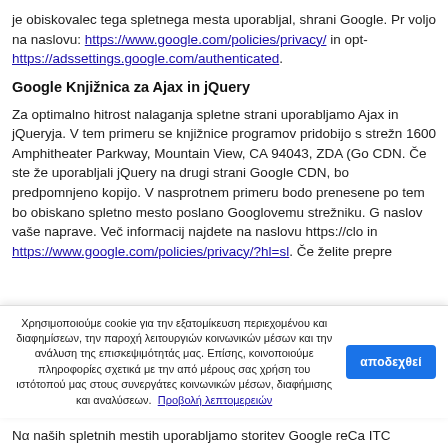je obiskovalec tega spletnega mesta uporabljal, shrani Google. Pr voljo na naslovu: https://www.google.com/policies/privacy/ in opt- https://adssettings.google.com/authenticated.
Google Knjižnica za Ajax in jQuery
Za optimalno hitrost nalaganja spletne strani uporabljamo Ajax in jQueryja. V tem primeru se knjižnice programov pridobijo s strežn 1600 Amphitheater Parkway, Mountain View, CA 94043, ZDA (Go CDN. Če ste že uporabljali jQuery na drugi strani Google CDN, bo predpomnjeno kopijo. V nasprotnem primeru bodo prenesene po tem bo obiskano spletno mesto poslano Googlovemu strežniku. G naslov vaše naprave. Več informacij najdete na naslovu https://clo in https://www.google.com/policies/privacy/?hl=sl. Če želite prepre lahko namestite blokator JavaScripta.
Χρησιμοποιούμε cookie για την εξατομίκευση περιεχομένου και διαφημίσεων, την παροχή λειτουργιών κοινωνικών μέσων και την ανάλυση της επισκεψιμότητάς μας. Επίσης, κοινοποιούμε πληροφορίες σχετικά με την από μέρους σας χρήση του ιστότοπού μας στους συνεργάτες κοινωνικών μέσων, διαφήμισης και αναλύσεων. Προβολή λεπτομερειών
Να ναших spletnih mestih uporabljamo storitev Google reCa ITC